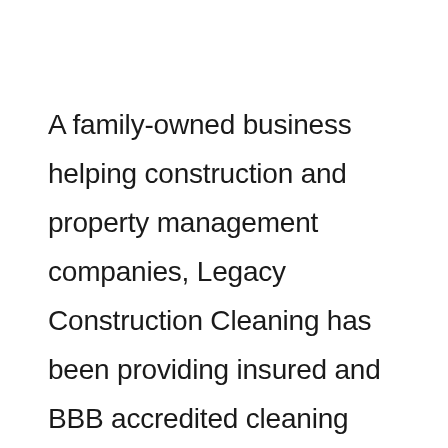A family-owned business helping construction and property management companies, Legacy Construction Cleaning has been providing insured and BBB accredited cleaning services for over 20 years.